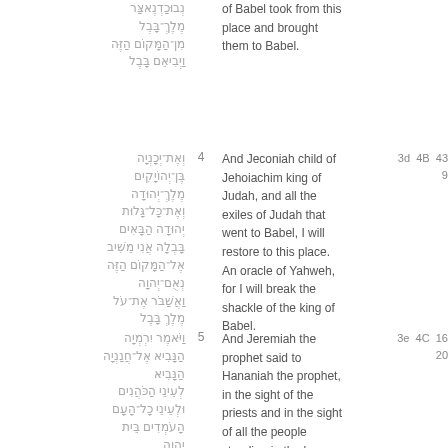Hebrew text (continuation of verse 3): נְבוּכַדְנֶאצַּר מֶלֶךְ־בָּבֶל מִן־הַמָּקוֹם הַזֶּה וַיְבִיאֵם בָּבֶל
English (continuation of verse 3): of Babel took from this place and brought them to Babel.
Verse 4 Hebrew: וְאֶת־יְכָנְיָה בֶּן־יְהוֹיָקִים מֶלֶךְ־יְהוּדָה וְאֶת־כָּל־גָּלוּת יְהוּדָה הַבָּאִים בָּבְלָה אֲנִי מֵשִׁיב אֶל־הַמָּקוֹם הַזֶּה נְאֻם־יְהוָה וַאֲשַׁבֹּר אֶת־עֹל מֶלֶךְ בָּבֶל
4 And Jeconiah child of Jehoiachim king of Judah, and all the exiles of Judah that went to Babel, I will restore to this place. An oracle of Yahweh, for I will break the shackle of the king of Babel.
Codes: 3d 4B 43 9
Verse 5 Hebrew: וַיֹּאמֶר יִרְמְיָה הַנָּבִיא אֶל־חֲנַנְיָה הַנָּבִיא לְעֵינֵי הַכֹּהֲנִים וּלְעֵינֵי כָל־הָעָם הָעֹמְדִים בֵּית יְהוָה
5 And Jeremiah the prophet said to Hananiah the prophet, in the sight of the priests and in the sight of all the people standing in the house of Yahweh.
Codes: 3e 4C 16 20